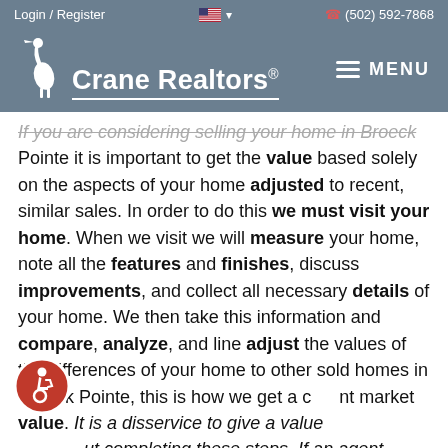Login / Register   🇺🇸 ▾   (502) 592-7868
[Figure (logo): Crane Realtors logo with heron bird icon and text 'Crane Realtors®', alongside a MENU hamburger icon on the right]
If you are considering selling your home in Broeck Pointe it is important to get the value based solely on the aspects of your home adjusted to recent, similar sales. In order to do this we must visit your home. When we visit we will measure your home, note all the features and finishes, discuss improvements, and collect all necessary details of your home. We then take this information and compare, analyze, and line adjust the values of the differences of your home to other sold homes in Broeck Pointe, this is how we get a current market value. It is a disservice to give a value without completing these steps. If an agent provides you
[Figure (illustration): Red circular accessibility icon with wheelchair user symbol]